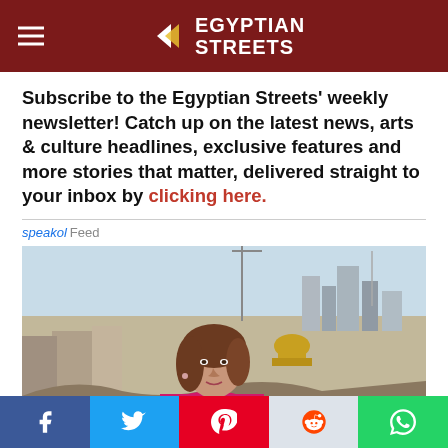Egyptian Streets
Subscribe to the Egyptian Streets' weekly newsletter! Catch up on the latest news, arts & culture headlines, exclusive features and more stories that matter, delivered straight to your inbox by clicking here.
[Figure (photo): Speakol Feed widget showing a woman reporter standing in front of a Jerusalem cityscape with the Dome of the Rock visible in the background.]
Social share bar: Facebook, Twitter, Pinterest, Reddit, WhatsApp